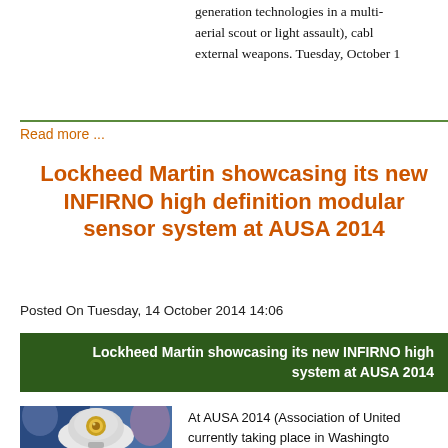generation technologies in a multi- aerial scout or light assault), capable external weapons. Tuesday, October 14
Read more ...
Lockheed Martin showcasing its new INFIRNO high definition modular sensor system at AUSA 2014
Posted On Tuesday, 14 October 2014 14:06
Lockheed Martin showcasing its new INFIRNO high system at AUSA 2014
[Figure (photo): Photo of a sensor turret/gimbal system, white dome-shaped device with optical lens, displayed at AUSA 2014]
At AUSA 2014 (Association of United currently taking place in Washingto showcasing a new high definition 1 INFIRNO. The sensor system's m removed and replaced in the field